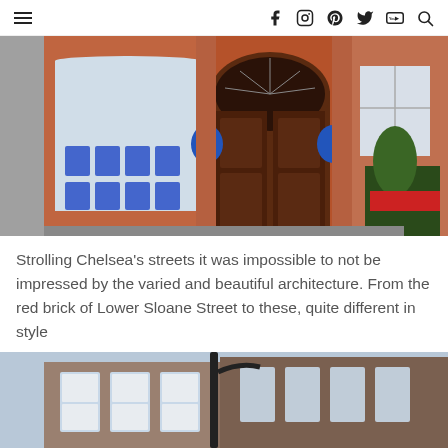Navigation header with hamburger menu and social icons: facebook, instagram, pinterest, twitter, youtube, search
[Figure (photo): Photograph of a red brick building entrance on Lower Sloane Street, Chelsea, with an arched doorway, double wooden doors, two blue circular plaques, and a shop window displaying property listings on the left.]
Strolling Chelsea's streets it was impossible to not be impressed by the varied and beautiful architecture. From the red brick of Lower Sloane Street to these, quite different in style
[Figure (photo): Partial photograph of Chelsea street buildings showing white-framed bay windows and mixed brick facades with a lamp post in the foreground.]